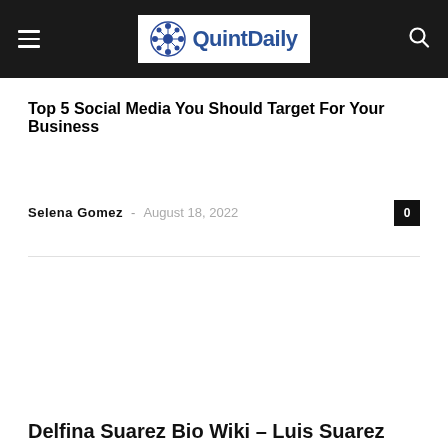QuintDaily
Top 5 Social Media You Should Target For Your Business
Selena Gomez - August 18, 2022
Delfina Suarez Bio Wiki – Luis Suarez